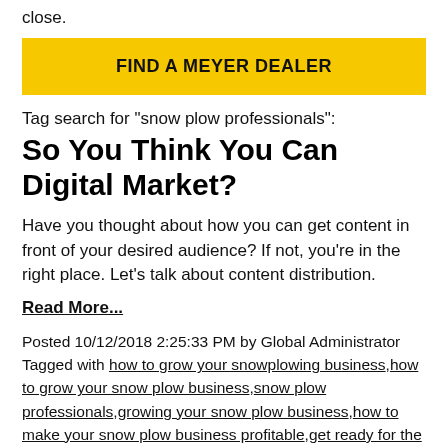close.
[Figure (other): Yellow button labeled FIND A MEYER DEALER]
Tag search for "snow plow professionals":
So You Think You Can Digital Market?
Have you thought about how you can get content in front of your desired audience? If not, you're in the right place. Let's talk about content distribution.
Read More...
Posted 10/12/2018 2:25:33 PM by Global Administrator Tagged with how to grow your snowplowing business,how to grow your snow plow business,snow plow professionals,growing your snow plow business,how to make your snow plow business profitable,get ready for the winter